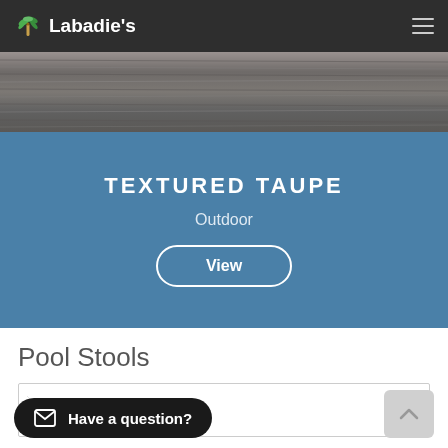Labadie's
[Figure (photo): Textured taupe surface material close-up, grey-brown wood-like texture]
TEXTURED TAUPE
Outdoor
View
Pool Stools
[Figure (photo): Product image placeholder (broken image icon)]
Have a question?